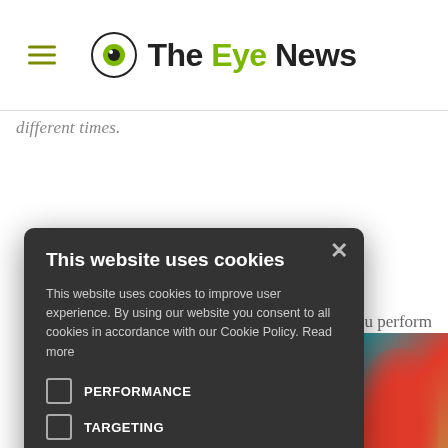The Eye News
different times.
ou perform you are inant eye, r accuracy. e is to keep ur peripheral
[Figure (screenshot): Cookie consent modal overlay on The Eye News website with dark background, showing title 'This website uses cookies', description text, PERFORMANCE and TARGETING checkboxes, ACCEPT ALL and DECLINE ALL buttons, and SHOW DETAILS option.]